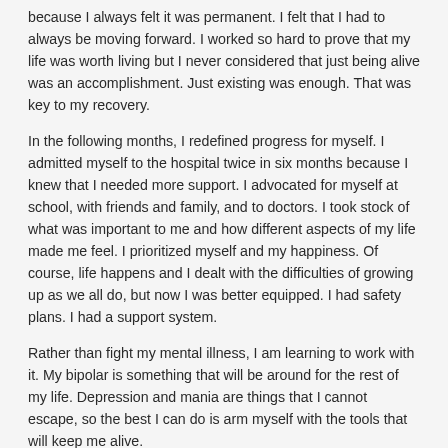because I always felt it was permanent. I felt that I had to always be moving forward. I worked so hard to prove that my life was worth living but I never considered that just being alive was an accomplishment. Just existing was enough. That was key to my recovery.
In the following months, I redefined progress for myself. I admitted myself to the hospital twice in six months because I knew that I needed more support. I advocated for myself at school, with friends and family, and to doctors. I took stock of what was important to me and how different aspects of my life made me feel. I prioritized myself and my happiness. Of course, life happens and I dealt with the difficulties of growing up as we all do, but now I was better equipped. I had safety plans. I had a support system.
Rather than fight my mental illness, I am learning to work with it. My bipolar is something that will be around for the rest of my life. Depression and mania are things that I cannot escape, so the best I can do is arm myself with the tools that will keep me alive.
There is life after an attempt. You are not alone. Your struggles do not define your worth.